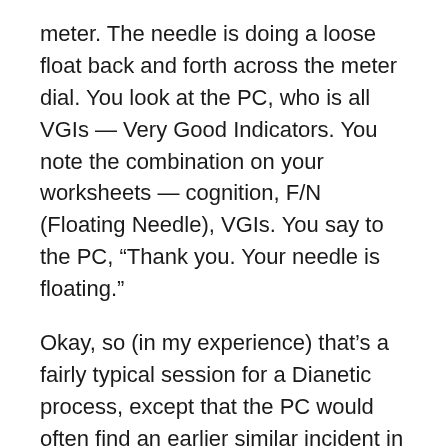meter. The needle is doing a loose float back and forth across the meter dial. You look at the PC, who is all VGIs — Very Good Indicators. You note the combination on your worksheets — cognition, F/N (Floating Needle), VGIs. You say to the PC, “Thank you. Your needle is floating.”
Okay, so (in my experience) that’s a fairly typical session for a Dianetic process, except that the PC would often find an earlier similar incident in a “past life.”
Now here’s the question: Is it enough that this process “works” — that it gets a positive result, without corroborating the objective reality of the “memory,” knowing how capable the mind is of generating memories? Is that really enough — to